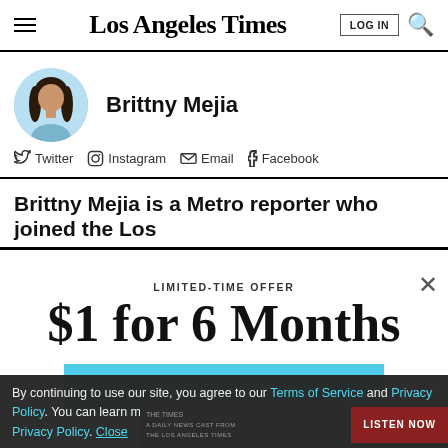Los Angeles Times
[Figure (photo): Circular author headshot of Brittny Mejia against a light blue background]
Brittny Mejia
Twitter   Instagram   Email   Facebook
Brittny Mejia is a Metro reporter who joined the Los
LIMITED-TIME OFFER
$1 for 6 Months
SUBSCRIBE NOW
By continuing to use our site, you agree to our Terms of Service and Privacy Policy. You can learn more about how we use cookies by reviewing our Privacy Policy. Close